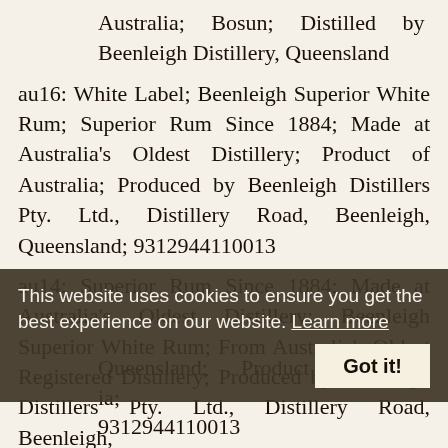Australia; Bosun; Distilled by Beenleigh Distillery, Queensland
au16: White Label; Beenleigh Superior White Rum; Superior Rum Since 1884; Made at Australia's Oldest Distillery; Product of Australia; Produced by Beenleigh Distillers Pty. Ltd., Distillery Road, Beenleigh, Queensland; 9312944110013
au14: Superior Rum Since 1884; Made at Australia's Oldest Distillery; Beenleigh Superior White Rum; From Australia's Oldest Registered Distillery; Produced by Beenleigh Distillers Pty. Ltd., Distillery Road, Beenleigh, Queensland; Product of Australia; 9312944110013
This website uses cookies to ensure you get the best experience on our website. Learn more
Got it!